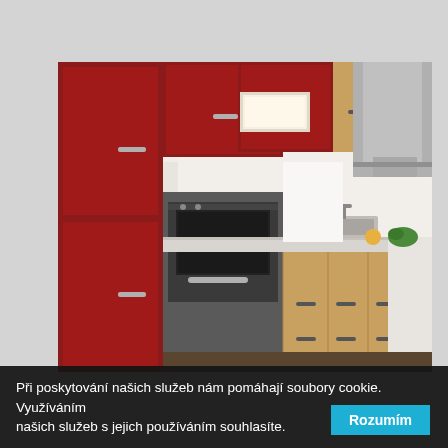[Figure (photo): Interior photo of a modern kitchen with red and wood-toned cabinets, stainless steel appliances including a built-in oven and range hood, and a light-colored countertop.]
Při poskytování našich služeb nám pomáhají soubory cookie. Využíváním našich služeb s jejich používáním souhlasíte.
Rozumím